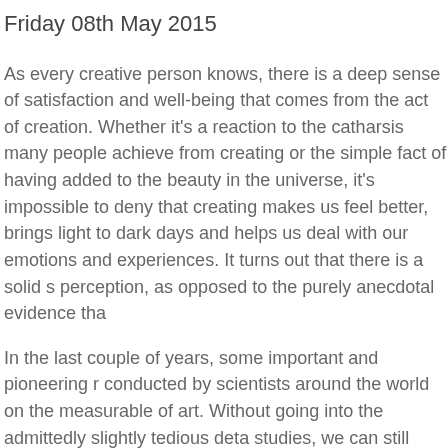Friday 08th May 2015
As every creative person knows, there is a deep sense of satisfaction and well-being that comes from the act of creation. Whether it's a reaction to the catharsis many people achieve from creating or the simple fact of having added to the beauty in the universe, it's impossible to deny that creating makes us feel better, brings light to dark days and helps us deal with our emotions and experiences. It turns out that there is a solid s perception, as opposed to the purely anecdotal evidence tha
In the last couple of years, some important and pioneering r conducted by scientists around the world on the measurable of art. Without going into the admittedly slightly tedious deta studies, we can still identify how to benefit from the results t study, which compared the neurological changes experience